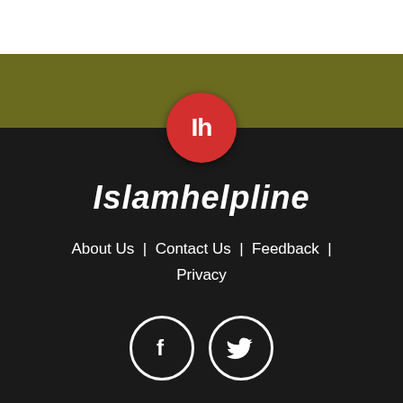[Figure (logo): Islamhelpline logo - red circle with white 'Ih' text]
Islamhelpline
About Us | Contact Us | Feedback | Privacy
[Figure (infographic): Facebook and Twitter social media icon circles]
Our Product
Prayertimes
W Wister